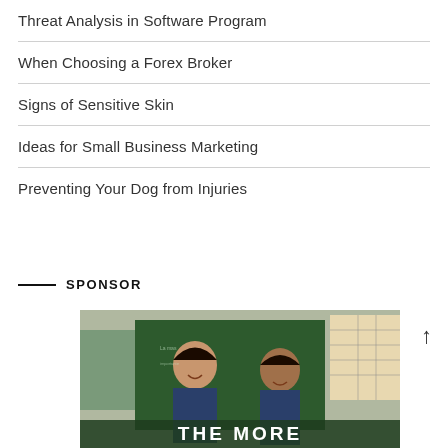Threat Analysis in Software Program
When Choosing a Forex Broker
Signs of Sensitive Skin
Ideas for Small Business Marketing
Preventing Your Dog from Injuries
SPONSOR
[Figure (photo): Two young girls in school uniforms smiling in a classroom setting, with text 'THE MORE' visible at the bottom of the image]